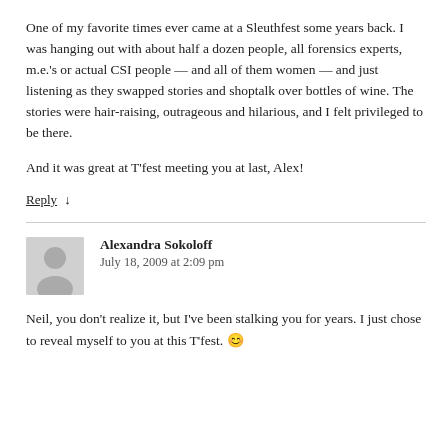One of my favorite times ever came at a Sleuthfest some years back. I was hanging out with about half a dozen people, all forensics experts, m.e.'s or actual CSI people — and all of them women — and just listening as they swapped stories and shoptalk over bottles of wine. The stories were hair-raising, outrageous and hilarious, and I felt privileged to be there.
And it was great at T'fest meeting you at last, Alex!
Reply ↓
Alexandra Sokoloff
July 18, 2009 at 2:09 pm
Neil, you don't realize it, but I've been stalking you for years. I just chose to reveal myself to you at this T'fest. 🙂